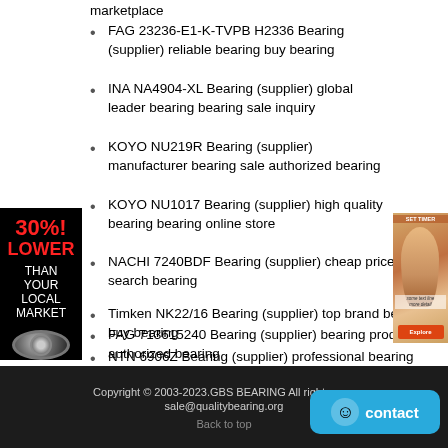marketplace
FAG 23236-E1-K-TVPB H2336 Bearing (supplier) reliable bearing buy bearing
INA NA4904-XL Bearing (supplier) global leader bearing bearing sale inquiry
KOYO NU219R Bearing (supplier) manufacturer bearing sale authorized bearing
KOYO NU1017 Bearing (supplier) high quality bearing bearing online store
NACHI 7240BDF Bearing (supplier) cheap price bearing search bearing
Timken NK22/16 Bearing (supplier) top brand bearing buy bearing
FAG 713615240 Bearing (supplier) bearing products authorized bearing
NTN 6906Z Bearing (supplier) professional bearing agent authorized bearing
SKF BT2B332506/HA2 Bearing (supplier) high precision bearing bearing sale inquiry
[Figure (infographic): Left sidebar ad: 30% LOWER THAN YOUR LOCAL MARKET with bearing image on black background]
[Figure (photo): Right side ad: woman's face close-up with orange/explore button]
Copyright © 2003-2023.GBS BEARING All rights reserved sale@qualitybearing.org Back to top